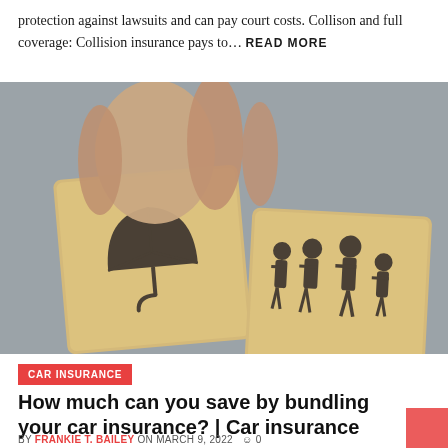protection against lawsuits and can pay court costs. Collison and full coverage: Collision insurance pays to... READ MORE
[Figure (photo): Hands placing wooden blocks together; one block shows an umbrella icon, another shows a family of four silhouettes icon, representing insurance bundling concept]
CAR INSURANCE
How much can you save by bundling your car insurance? | Car insurance
BY FRANKIE T. BAILEY ON MARCH 9, 2022